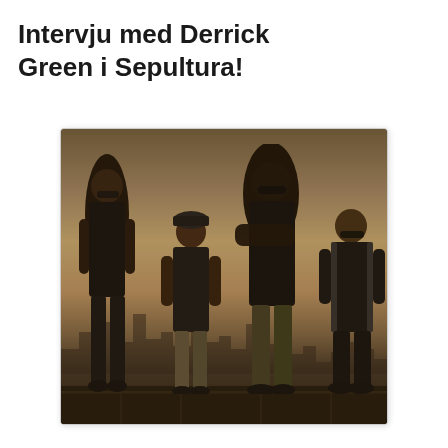Intervju med Derrick Green i Sepultura!
[Figure (photo): Black and white / sepia-toned photo of four band members of Sepultura standing on a rooftop with a city skyline in the background. From left to right: a member with long hair and tattoos, a shorter member with a cap, Derrick Green (tall, with dreadlocks and sunglasses, arms crossed), and a fourth member in a track jacket.]